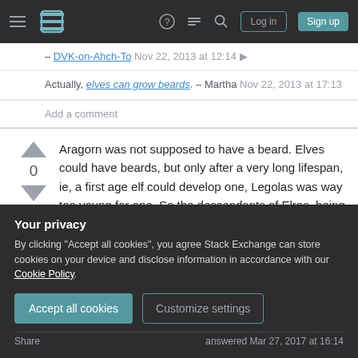Stack Exchange navigation bar with hamburger menu, logo, help, chat, search, Log in, Sign up buttons
– DVK-on-Ahch-To Nov 22, 2013 at 12:14
Actually, elves can grow beards. – Martha Nov 22, 2013 at 17:13
Add a comment
Aragorn was not supposed to have a beard. Elves could have beards, but only after a very long lifespan, ie, a first age elf could develop one, Legolas was way too young for one. So the descendants of Elros, being human would either
Your privacy
By clicking "Accept all cookies", you agree Stack Exchange can store cookies on your device and disclose information in accordance with our Cookie Policy.
Accept all cookies
Customize settings
Share    answered Mar 27, 2017 at 16:14